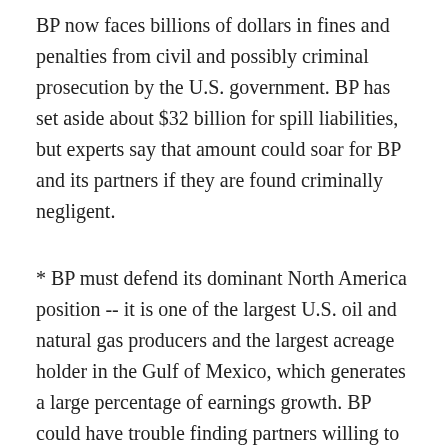BP now faces billions of dollars in fines and penalties from civil and possibly criminal prosecution by the U.S. government. BP has set aside about $32 billion for spill liabilities, but experts say that amount could soar for BP and its partners if they are found criminally negligent.
* BP must defend its dominant North America position -- it is one of the largest U.S. oil and natural gas producers and the largest acreage holder in the Gulf of Mexico, which generates a large percentage of earnings growth. BP could have trouble finding partners willing to enter joint ventures for deepwater projects due to a higher risk profile, experts said.